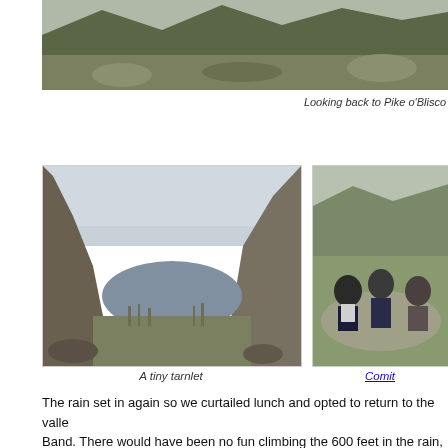[Figure (photo): Panoramic landscape photo of a mountain valley with rocky terrain and green hills, looking back to Pike o'Blisco]
Looking back to Pike o'Blisco
[Figure (photo): Photo of a tiny mountain tarnlet surrounded by rocky landscape and grassy banks]
[Figure (photo): Photo of hikers (comité members) resting on rocks on a hillside]
A tiny tarnlet
Comit
The rain set in again so we curtailed lunch and opted to return to the valley via the Band. There would have been no fun climbing the 600 feet in the rain, wi
[Figure (photo): Panoramic photo of mountain landscape with green hillsides and cloudy sky]